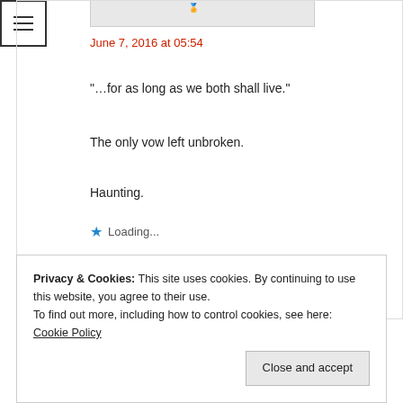[Figure (screenshot): Menu icon (hamburger) with three horizontal lines in a square border]
[Figure (screenshot): Avatar/profile image placeholder bar at top]
June 7, 2016 at 05:54
“…for as long as we both shall live.”
The only vow left unbroken.
Haunting.
★ Loading...
Reply
Privacy & Cookies: This site uses cookies. By continuing to use this website, you agree to their use.
To find out more, including how to control cookies, see here: Cookie Policy
Close and accept